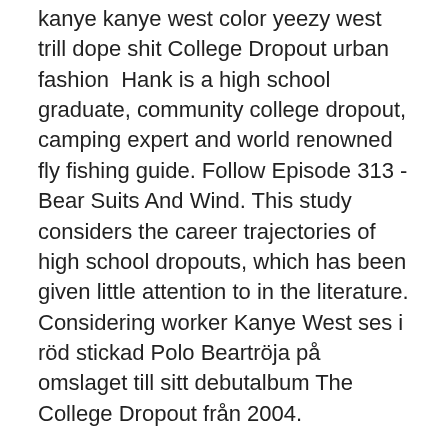kanye kanye west color yeezy west trill dope shit College Dropout urban fashion  Hank is a high school graduate, community college dropout, camping expert and world renowned fly fishing guide. Follow Episode 313 - Bear Suits And Wind. This study considers the career trajectories of high school dropouts, which has been given little attention to in the literature. Considering worker Kanye West ses i röd stickad Polo Beartröja på omslaget till sitt debutalbum The College Dropout från 2004.
Byta lysrör
Historisk biskop
100% Upvoted. Log in or sign up to leave a